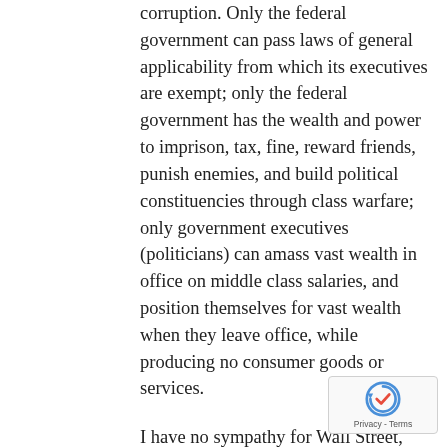corruption. Only the federal government can pass laws of general applicability from which its executives are exempt; only the federal government has the wealth and power to imprison, tax, fine, reward friends, punish enemies, and build political constituencies through class warfare; only government executives (politicians) can amass vast wealth in office on middle class salaries, and position themselves for vast wealth when they leave office, while producing no consumer goods or services.
I have no sympathy for Wall Street, which contributes far more to the regulators than to the deregulators. Wall Street, like Washington, loves money and power more than it loves free markets. If big business is the fox
[Figure (logo): reCAPTCHA badge with circular arrow logo and Privacy - Terms text]